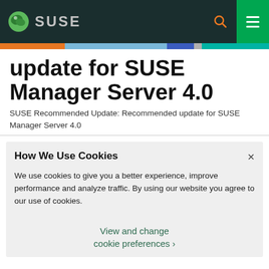SUSE
update for SUSE Manager Server 4.0
SUSE Recommended Update: Recommended update for SUSE Manager Server 4.0
How We Use Cookies
We use cookies to give you a better experience, improve performance and analyze traffic. By using our website you agree to our use of cookies.
View and change cookie preferences ›